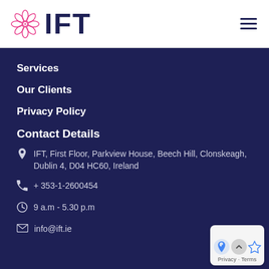[Figure (logo): IFT logo with pink flower/wheel icon and dark navy 'IFT' text]
Services
Our Clients
Privacy Policy
Contact Details
IFT, First Floor, Parkview House, Beech Hill, Clonskeagh, Dublin 4, D04 HC60, Ireland
+ 353-1-2600454
9 a.m - 5.30 p.m
info@ift.ie